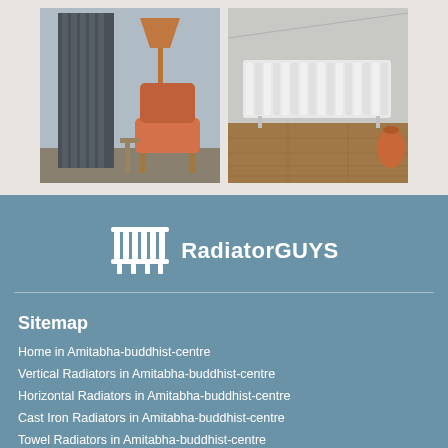[Figure (photo): Two radiator product photos side by side: left shows a dark vertical radiator in a room with an orange chair and copper floor lamp; right shows a white horizontal radiator in a room with wooden floor and orange accessories.]
[Figure (logo): RadiatorGUYS logo: white radiator icon with text 'RadiatorGUYS' in white on blue-grey background.]
Sitemap
Home in Amitabha-buddhist-centre
Vertical Radiators in Amitabha-buddhist-centre
Horizontal Radiators in Amitabha-buddhist-centre
Cast Iron Radiators in Amitabha-buddhist-centre
Towel Radiators in Amitabha-buddhist-centre
Electric Radiators in Amitabha-buddhist-centre